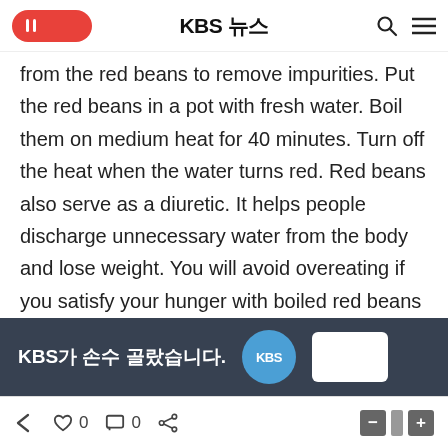KBS 뉴스
from the red beans to remove impurities. Put the red beans in a pot with fresh water. Boil them on medium heat for 40 minutes. Turn off the heat when the water turns red. Red beans also serve as a diuretic. It helps people discharge unnecessary water from the body and lose weight. You will avoid overeating if you satisfy your hunger with boiled red beans and red bean juice before a meal. But be careful; excessive intake of red beans can cause diarrhea. Red beans are appealing to more and more people with their mild taste and nutritious features. Stay healthy this winter with this natural food.
[Figure (other): KBS advertisement banner with text 'KBS가 손수 골랐습니다.' and KBS logo circle]
← ♡ 0  □ 0  < share  — 0 +